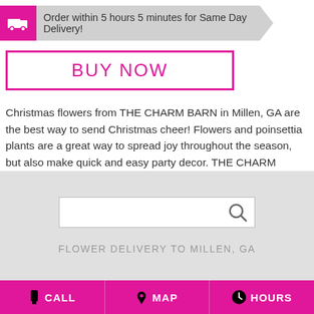Order within 5 hours 5 minutes for Same Day Delivery!
BUY NOW
Christmas flowers from THE CHARM BARN in Millen, GA are the best way to send Christmas cheer! Flowers and poinsettia plants are a great way to spread joy throughout the season, but also make quick and easy party decor. THE CHARM BARN can help you with any Christmas styles or colors with our Christmas decor accessories. Need a centerpiece or a Christmas wreath for your party? THE CHARM BARN has it, and more!
[Figure (other): Search input box with magnifying glass icon]
FLOWER DELIVERY TO MILLEN, GA
CALL   MAP   HOURS